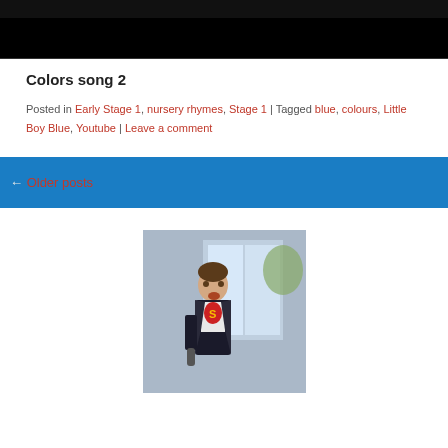[Figure (photo): Video thumbnail with dark background, partial frame of colors song video]
Colors song 2
Posted in Early Stage 1, nursery rhymes, Stage 1 | Tagged blue, colours, Little Boy Blue, Youtube | Leave a comment
← Older posts
[Figure (photo): Photo of a man wearing a Superman t-shirt and blazer, laughing, standing in front of a store entrance]